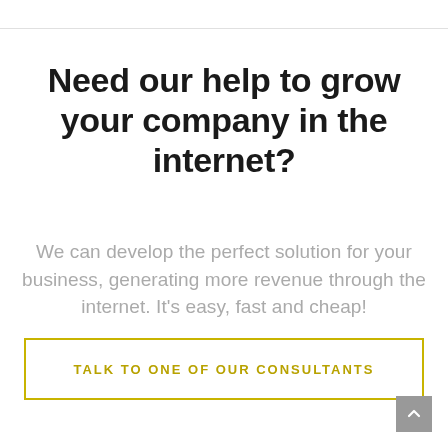Need our help to grow your company in the internet?
We can develop the perfect solution for your business, generating more revenue through the internet. It's easy, fast and cheap!
TALK TO ONE OF OUR CONSULTANTS